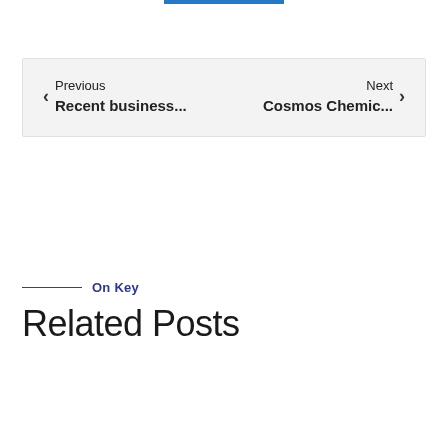Previous Recent business... Cosmos Chemic... Next
On Key
Related Posts